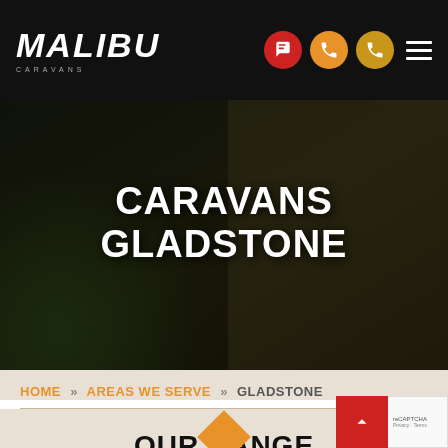MALIBU CARAVANS - Navigation bar
CARAVANS GLADSTONE
HOME » AREAS WE SERVE » GLADSTONE
[Figure (illustration): Two orange diamond/rhombus shapes stacked vertically with a vertical line below, forming a decorative bullet/section divider element]
OUR RANGE